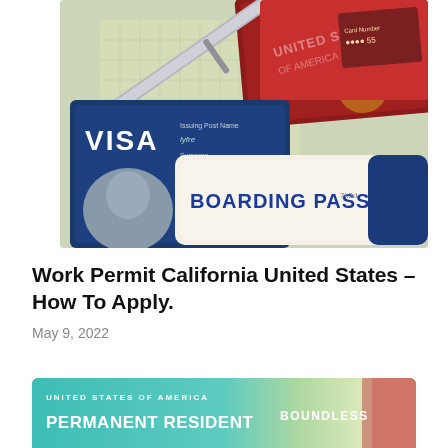[Figure (photo): Close-up photo of travel and immigration documents: a US visa, a boarding pass, a US passport, and what appears to be a green card or similar document, with a pen resting on top.]
Work Permit California United States – How To Apply.
May 9, 2022
[Figure (photo): Partial view of a United States of America Permanent Resident card (green card) with 'BOUNDLESS' branding visible on the right side.]